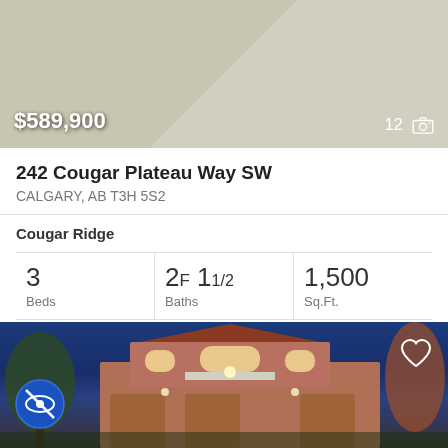[Figure (photo): Exterior photo of a residential home with green lawn, driveway, and garage. Price overlay shows $589,900 and photo count shows 12 with camera icon.]
242 Cougar Plateau Way SW
CALGARY, AB T3H 5S2
Cougar Ridge
| Beds | Baths | Sq.Ft. |
| --- | --- | --- |
| 3 | 2F 1 1/2 | 1,500 |
Royal Lepage Solutions
[Figure (photo): Exterior night photo of a large two-story luxury home with stone facade, multiple garage doors, lit up at dusk with blue sky. Heart icon in upper right and eye-slash icon in lower left.]